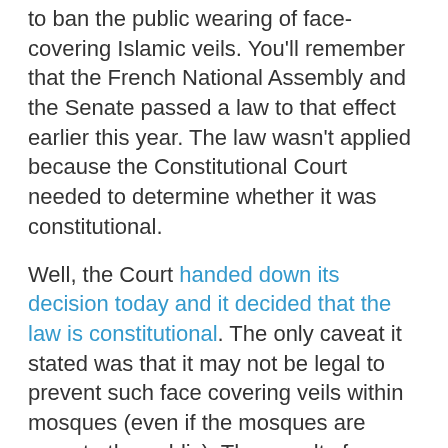to ban the public wearing of face-covering Islamic veils. You'll remember that the French National Assembly and the Senate passed a law to that effect earlier this year. The law wasn't applied because the Constitutional Court needed to determine whether it was constitutional.
Well, the Court handed down its decision today and it decided that the law is constitutional. The only caveat it stated was that it may not be legal to prevent such face covering veils within mosques (even if the mosques are open to the public). The penalty for breaking the law is a $200 fine for wearing one and a $42,000 fine for forcing someone to wear one.
The next step is to challenge the law in the European Court of Human Rights. The law is apparently very careful not to use any gender or specific references.
And Second, the "Roma File"
Le Monde's reported today that the Gendarmerie has been keeping a secret file, called MENS (Minorites Ethniques Non Sedentarisee or Non Sendentary Ethnic Minorities). The